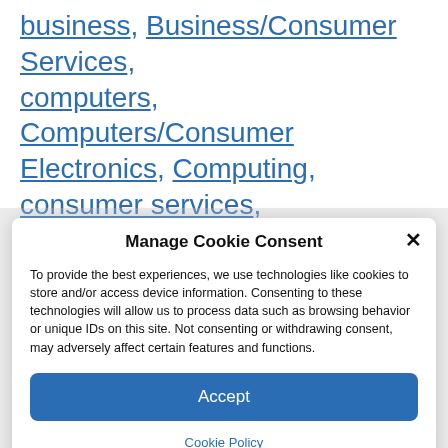business, Business/Consumer Services, computers, Computers/Consumer Electronics, Computing, consumer services, consumer-electronics, corporate, Corporate/Industrial News, industrial news, market research, Market Research/Public
Manage Cookie Consent
To provide the best experiences, we use technologies like cookies to store and/or access device information. Consenting to these technologies will allow us to process data such as browsing behavior or unique IDs on this site. Not consenting or withdrawing consent, may adversely affect certain features and functions.
Accept
Cookie Policy